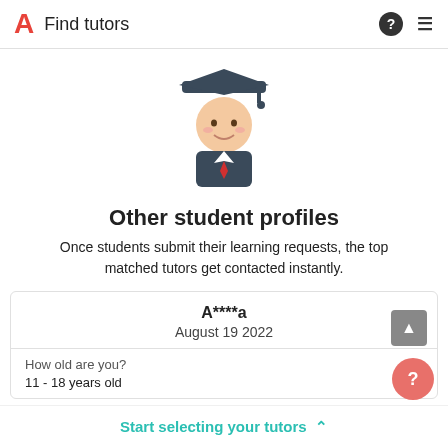Find tutors
[Figure (illustration): Cartoon illustration of a student wearing a graduation cap and academic gown with a red tie, smiling face]
Other student profiles
Once students submit their learning requests, the top matched tutors get contacted instantly.
A****a
August 19 2022
How old are you?
11 - 18 years old
Start selecting your tutors